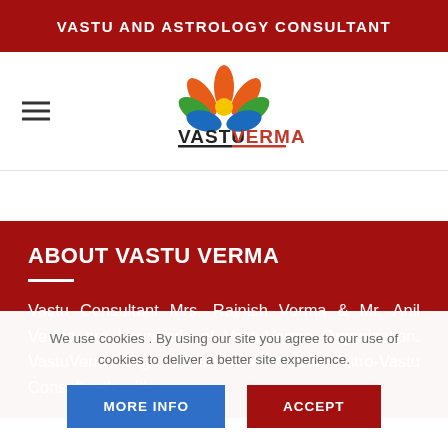VASTU AND ASTROLOGY CONSULTANT
[Figure (logo): VastuVerma logo with stylized lotus/leaf and text 'VASTUVERMA']
ABOUT VASTU VERMA
Vastu Consultant Mrs. Rajnish Verma & Mr. Anil Verma are Founder's of VastuVerma Organization. VastuVerma Organization is an Advance Astro-Vastu Consultant's with
We use cookies . By using our site you agree to our use of cookies to deliver a better site experience.
MORE INFO | ACCEPT